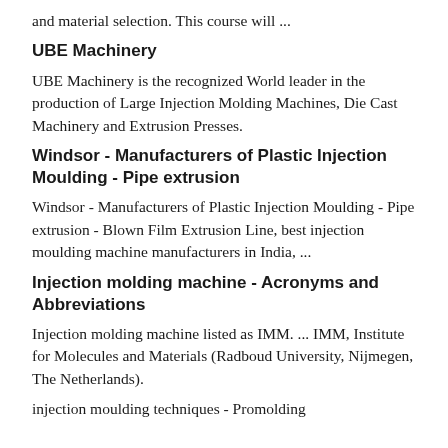and material selection. This course will ...
UBE Machinery
UBE Machinery is the recognized World leader in the production of Large Injection Molding Machines, Die Cast Machinery and Extrusion Presses.
Windsor - Manufacturers of Plastic Injection Moulding - Pipe extrusion
Windsor - Manufacturers of Plastic Injection Moulding - Pipe extrusion - Blown Film Extrusion Line, best injection moulding machine manufacturers in India, ...
Injection molding machine - Acronyms and Abbreviations
Injection molding machine listed as IMM. ... IMM, Institute for Molecules and Materials (Radboud University, Nijmegen, The Netherlands).
injection moulding techniques - Promolding